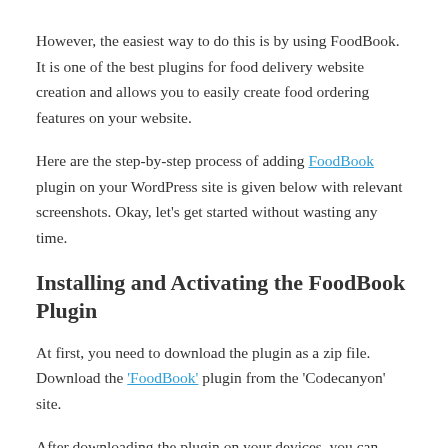However, the easiest way to do this is by using FoodBook. It is one of the best plugins for food delivery website creation and allows you to easily create food ordering features on your website.
Here are the step-by-step process of adding FoodBook plugin on your WordPress site is given below with relevant screenshots. Okay, let's get started without wasting any time.
Installing and Activating the FoodBook Plugin
At first, you need to download the plugin as a zip file. Download the 'FoodBook' plugin from the 'Codecanyon' site.
After downloading the plugin on your devices, you can manually upload it and install it through the Plugins admin screen.